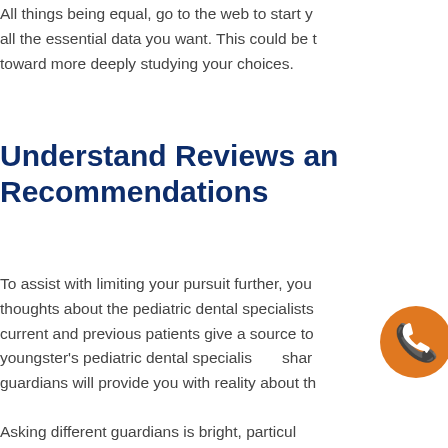All things being equal, go to the web to start y all the essential data you want. This could be t toward more deeply studying your choices.
Understand Reviews and Recommendations
To assist with limiting your pursuit further, you thoughts about the pediatric dental specialists current and previous patients give a source to youngster's pediatric dental specialist shar guardians will provide you with reality about th
Asking different guardians is bright, particul